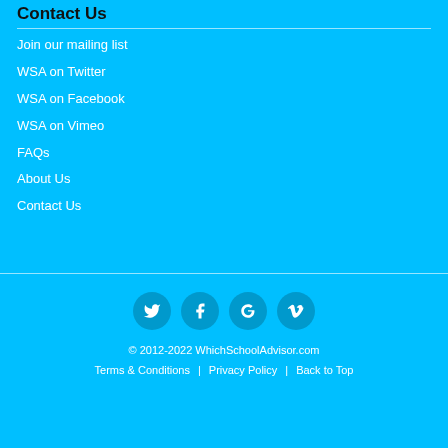Contact Us
Join our mailing list
WSA on Twitter
WSA on Facebook
WSA on Vimeo
FAQs
About Us
Contact Us
[Figure (infographic): Social media icons: Twitter, Facebook, Google+, Vimeo — circular teal buttons]
© 2012-2022 WhichSchoolAdvisor.com | Terms & Conditions | Privacy Policy | Back to Top